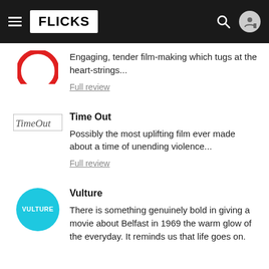FLICKS
Engaging, tender film-making which tugs at the heart-strings...
Full review
Time Out
Possibly the most uplifting film ever made about a time of unending violence...
Full review
Vulture
There is something genuinely bold in giving a movie about Belfast in 1969 the warm glow of the everyday. It reminds us that life goes on.